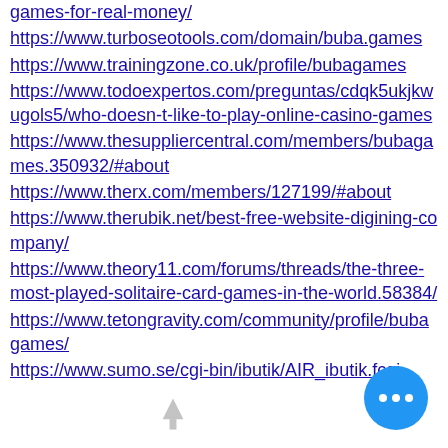games-for-real-money/
https://www.turboseotools.com/domain/buba.games
https://www.trainingzone.co.uk/profile/bubagames
https://www.todoexpertos.com/preguntas/cdqk5ukjkwugols5/who-doesn-t-like-to-play-online-casino-games
https://www.thesuppliercentral.com/members/bubagames.350932/#about
https://www.therx.com/members/127199/#about
https://www.therubik.net/best-free-website-digining-company/
https://www.theory11.com/forums/threads/the-three-most-played-solitaire-card-games-in-the-world.58384/
https://www.tetongravity.com/community/profile/bubagames/
https://www.sumo.se/cgi-bin/ibutik/AIR_ibutik.fcgi